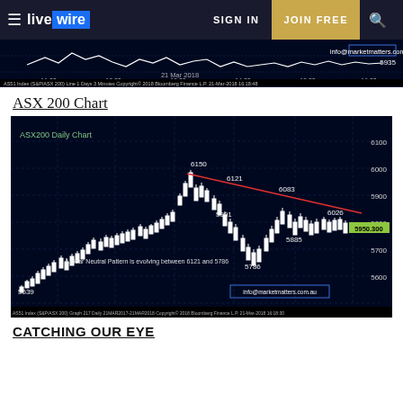livewire — SIGN IN | JOIN FREE
[Figure (continuous-plot): ASX51 Index (S&P/ASX 200) Line 1 Days 3 Minutes intraday chart strip, 21 Mar 2018, 11:00-16:00, showing price around 5935. Copyright 2018 Bloomberg Finance L.P. 21-Mar-2018 16:18:48. info@marketmatters.com.au]
ASX 200 Chart
[Figure (continuous-plot): ASX200 Daily Chart (candlestick), 21MAR2017-21MAR2018, Bloomberg Finance L.P. Key levels: 5639 (Oct low), 6150 (Jan high), 6121, 6083, 5991, 5786 (Feb low), 5885, 6026, 5950.300 (current). Red descending trendline from 6150 to current area. Text: 'A clear Neutral Pattern is evolving between 6121 and 5786'. info@marketmatters.com.au. Copyright 2018 Bloomberg Finance L.P. 21-Mar-2018 16:18:30]
CATCHING OUR EYE